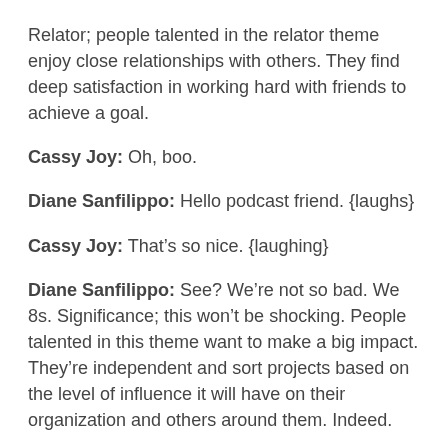Relator; people talented in the relator theme enjoy close relationships with others. They find deep satisfaction in working hard with friends to achieve a goal.
Cassy Joy: Oh, boo.
Diane Sanfilippo: Hello podcast friend. {laughs}
Cassy Joy: That’s so nice. {laughing}
Diane Sanfilippo: See? We’re not so bad. We 8s. Significance; this won’t be shocking. People talented in this theme want to make a big impact. They’re independent and sort projects based on the level of influence it will have on their organization and others around them. Indeed.
Strategic; people talented in this theme create alternative ways